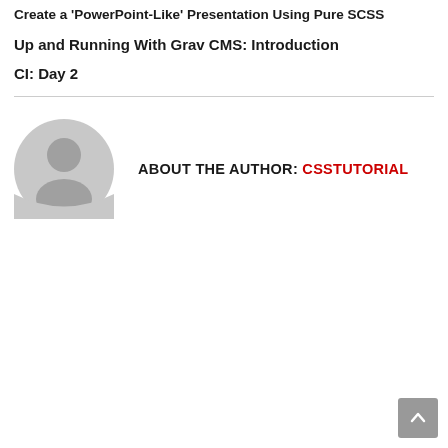Create a 'PowerPoint-Like' Presentation Using Pure SCSS
Up and Running With Grav CMS: Introduction
CI: Day 2
[Figure (illustration): Gray circular avatar/profile icon placeholder]
ABOUT THE AUTHOR: CSSTUTORIAL